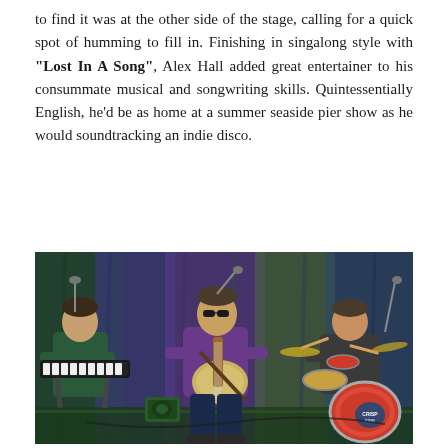to find it was at the other side of the stage, calling for a quick spot of humming to fill in. Finishing in singalong style with "Lost In A Song", Alex Hall added great entertainer to his consummate musical and songwriting skills. Quintessentially English, he'd be as home at a summer seaside pier show as he would soundtracking an indie disco.
[Figure (photo): A band performing on stage. On the left, a person plays keyboard/synthesizer. In the center, a man wearing sunglasses plays an electric guitar. On the right, a drummer sits behind a red drum kit with a bass drum head visible. The background features colorful curtains in blue, purple, and green.]